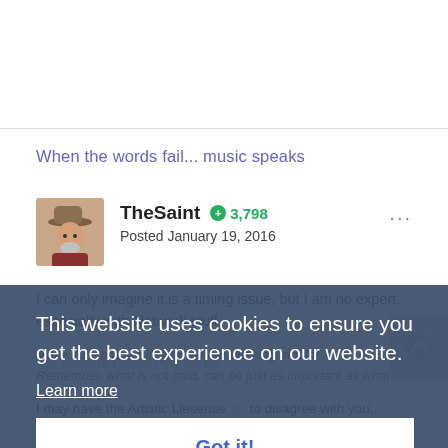When the words fail... music speaks
TheSaint  3,798
Posted January 19, 2016
I can only imagine it is a timing issue, but I am no expert, especially with Network stuff.
Make sure brain is in gear before opening mouth!
Remember, what is not said, can be just as important as what is said.
This website uses cookies to ensure you get the best experience on our website.
Learn more
Got it!
Reveal hidden contents
I may have the Artistic Liesense 🙂 to disagree with you. TheSaint's